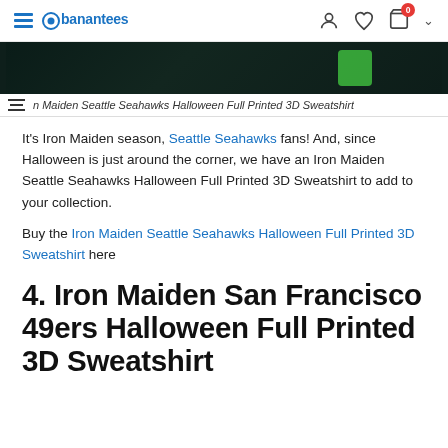banantees — navigation header with hamburger menu, logo, user icon, heart icon, cart icon (badge: 0), chevron
[Figure (photo): Dark themed banner image with green and dark teal elements partially visible]
n Maiden Seattle Seahawks Halloween Full Printed 3D Sweatshirt
It's Iron Maiden season, Seattle Seahawks fans! And, since Halloween is just around the corner, we have an Iron Maiden Seattle Seahawks Halloween Full Printed 3D Sweatshirt to add to your collection.
Buy the Iron Maiden Seattle Seahawks Halloween Full Printed 3D Sweatshirt here
4. Iron Maiden San Francisco 49ers Halloween Full Printed 3D Sweatshirt